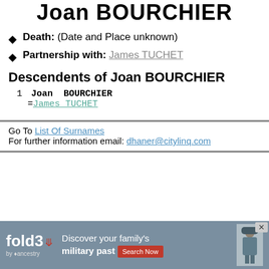Joan BOURCHIER
Death: (Date and Place unknown)
Partnership with: James TUCHET
Descendents of Joan BOURCHIER
1  Joan BOURCHIER
  =James TUCHET
Go To List Of Surnames
For further information email: dhaner@citylinq.com
[Figure (infographic): fold3 by ancestry advertisement banner: Discover your family's military past. Search Now button. Soldier image on right.]